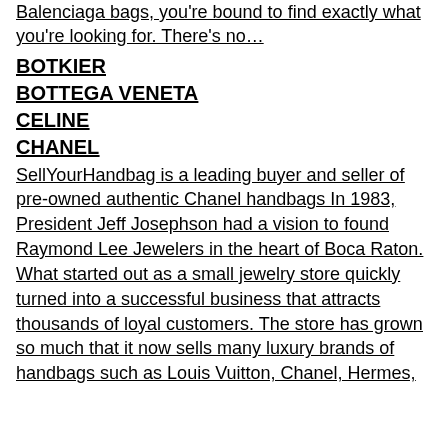Balenciaga bags, you're bound to find exactly what you're looking for. There's no…
BOTKIER
BOTTEGA VENETA
CELINE
CHANEL
SellYourHandbag is a leading buyer and seller of pre-owned authentic Chanel handbags In 1983, President Jeff Josephson had a vision to found Raymond Lee Jewelers in the heart of Boca Raton. What started out as a small jewelry store quickly turned into a successful business that attracts thousands of loyal customers. The store has grown so much that it now sells many luxury brands of handbags such as Louis Vuitton, Chanel, Hermes,